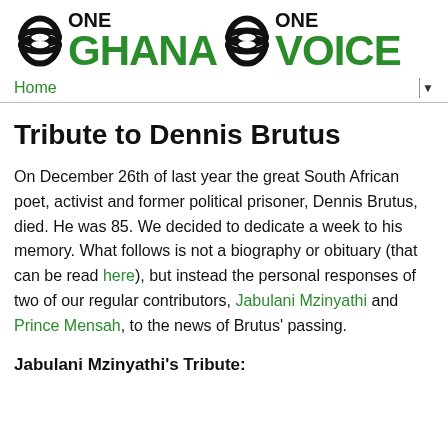[Figure (logo): One Ghana One Voice logo with Adinkra knot symbols, bold black and green text]
Home ▼
Tribute to Dennis Brutus
On December 26th of last year the great South African poet, activist and former political prisoner, Dennis Brutus, died. He was 85. We decided to dedicate a week to his memory. What follows is not a biography or obituary (that can be read here), but instead the personal responses of two of our regular contributors, Jabulani Mzinyathi and Prince Mensah, to the news of Brutus' passing.
Jabulani Mzinyathi's Tribute: